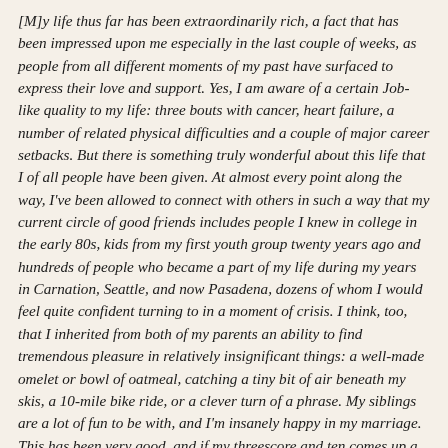[M]y life thus far has been extraordinarily rich, a fact that has been impressed upon me especially in the last couple of weeks, as people from all different moments of my past have surfaced to express their love and support. Yes, I am aware of a certain Job-like quality to my life: three bouts with cancer, heart failure, a number of related physical difficulties and a couple of major career setbacks. But there is something truly wonderful about this life that I of all people have been given. At almost every point along the way, I've been allowed to connect with others in such a way that my current circle of good friends includes people I knew in college in the early 80s, kids from my first youth group twenty years ago and hundreds of people who became a part of my life during my years in Carnation, Seattle, and now Pasadena, dozens of whom I would feel quite confident turning to in a moment of crisis. I think, too, that I inherited from both of my parents an ability to find tremendous pleasure in relatively insignificant things: a well-made omelet or bowl of oatmeal, catching a tiny bit of air beneath my skis, a 10-mile bike ride, or a clever turn of a phrase. My siblings are a lot of fun to be with, and I'm insanely happy in my marriage. This has been very good, and if my threescore and ten comes up a score short, I can't really say that